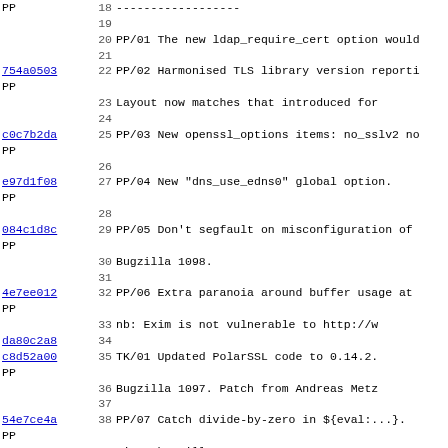| Hash/Author | Line | Message |
| --- | --- | --- |
| PP | 18 | ------------------ |
|  | 19 |  |
|  | 20 | PP/01 The new ldap_require_cert option would |
|  | 21 |  |
| 754a0503 PP | 22 | PP/02 Harmonised TLS library version reporti |
|  | 23 |       Layout now matches that introduced for |
|  | 24 |  |
| c0c7b2da PP | 25 | PP/03 New openssl_options items: no_sslv2 no |
|  | 26 |  |
| e97d1f08 PP | 27 | PP/04 New "dns_use_edns0" global option. |
|  | 28 |  |
| 084c1d8c PP | 29 | PP/05 Don't segfault on misconfiguration of |
|  | 30 |       Bugzilla 1098. |
|  | 31 |  |
| 4e7ee012 PP | 32 | PP/06 Extra paranoia around buffer usage at |
|  | 33 |       nb: Exim is not vulnerable to http://w |
| da80c2a8 | 34 |  |
| c8d52a00 PP | 35 | TK/01 Updated PolarSSL code to 0.14.2. |
|  | 36 |       Bugzilla 1097. Patch from Andreas Metz |
|  | 37 |  |
| 54e7ce4a PP | 38 | PP/07 Catch divide-by-zero in ${eval:...}. |
|  | 39 |       Fixes bugzilla 1102. |
|  | 40 |  |
| 5ee6f336 PP | 41 | PP/08 Condition negation of bool{}/bool_lax{ |
|  | 42 |       Bugzilla 1104. |
|  | 43 |  |
| c8d52a00 6ea4a851 PP | 44 | TK/02 Bugzilla 1106: CVE-2011-1764 - DKIM lo |
|  | 45 |       format-string attack -- SECURITY: remo |
|  | 46 |  |
|  | 47 | TK/03 SECURITY - DKIM signature header parsi |
|  | 48 |       time unintentionally subject to list m |
|  | 49 |       cause arbitrary Exim lookups (of items |
|  | 50 |       arbitrary string expansion). This alle |